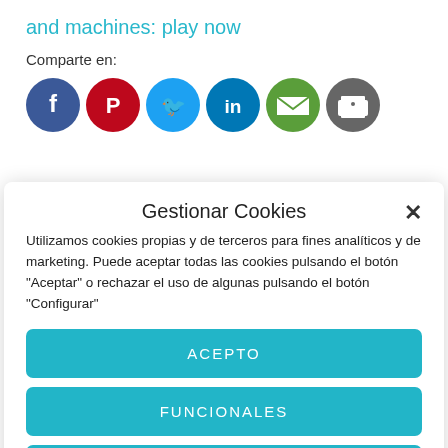and machines: play now
Comparte en:
[Figure (illustration): Social media share icons: Facebook (blue), Pinterest (red), Twitter (light blue), LinkedIn (dark blue), Email (green), Print (gray)]
Gestionar Cookies
Utilizamos cookies propias y de terceros para fines analíticos y de marketing. Puede aceptar todas las cookies pulsando el botón "Aceptar" o rechazar el uso de algunas pulsando el botón "Configurar"
ACEPTO
FUNCIONALES
CONFIGURAR
Política de cookies   Declaración de privacidad